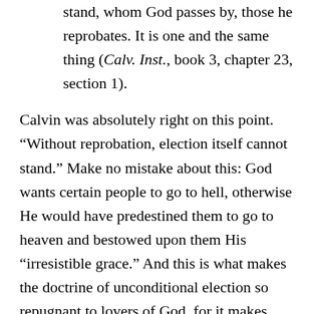stand, whom God passes by, those he reprobates. It is one and the same thing (Calv. Inst., book 3, chapter 23, section 1).
Calvin was absolutely right on this point. “Without reprobation, election itself cannot stand.” Make no mistake about this: God wants certain people to go to hell, otherwise He would have predestined them to go to heaven and bestowed upon them His “irresistible grace.” And this is what makes the doctrine of unconditional election so repugnant to lovers of God, for it makes their God into a monster who creates people for the express purpose of tormenting them eternally in hell. From before